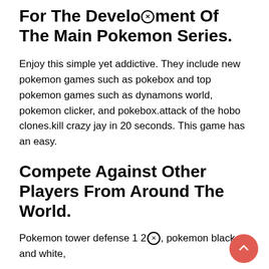For The Development Of The Main Pokemon Series.
Enjoy this simple yet addictive. They include new pokemon games such as pokebox and top pokemon games such as dynamons world, pokemon clicker, and pokebox.attack of the hobo clones.kill crazy jay in 20 seconds. This game has an easy.
Compete Against Other Players From Around The World.
Pokemon tower defense 1 2ⓧ, pokemon black and white,